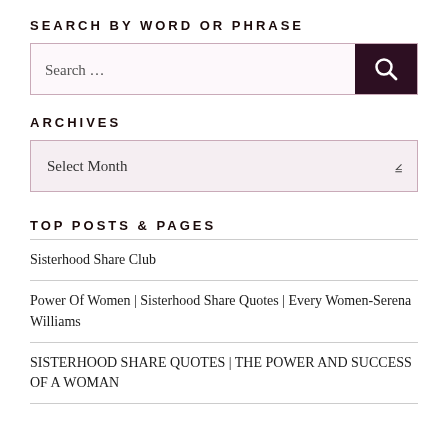SEARCH BY WORD OR PHRASE
[Figure (screenshot): Search input box with dark maroon search button containing magnifying glass icon]
ARCHIVES
[Figure (screenshot): Dropdown select box with 'Select Month' placeholder and dropdown arrow]
TOP POSTS & PAGES
Sisterhood Share Club
Power Of Women | Sisterhood Share Quotes | Every Women-Serena Williams
SISTERHOOD SHARE QUOTES | THE POWER AND SUCCESS OF A WOMAN